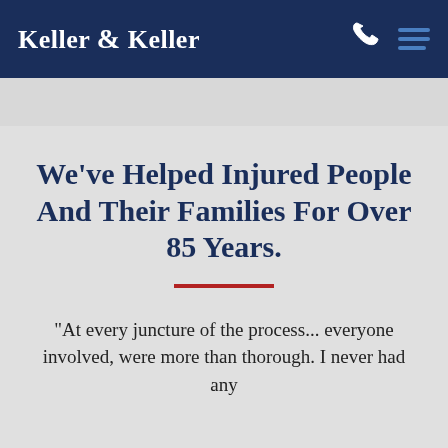Keller & Keller
We've Helped Injured People And Their Families For Over 85 Years.
"At every juncture of the process... everyone involved, were more than thorough. I never had any